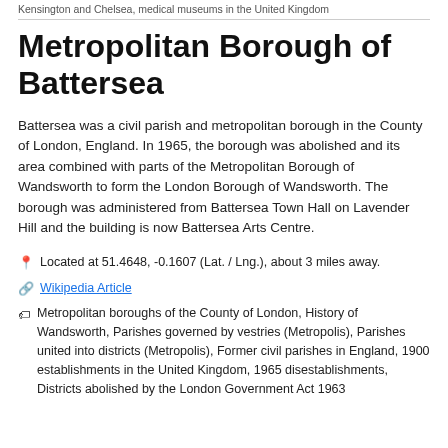Kensington and Chelsea, medical museums in the United Kingdom
Metropolitan Borough of Battersea
Battersea was a civil parish and metropolitan borough in the County of London, England. In 1965, the borough was abolished and its area combined with parts of the Metropolitan Borough of Wandsworth to form the London Borough of Wandsworth. The borough was administered from Battersea Town Hall on Lavender Hill and the building is now Battersea Arts Centre.
Located at 51.4648, -0.1607 (Lat. / Lng.), about 3 miles away.
Wikipedia Article
Metropolitan boroughs of the County of London, History of Wandsworth, Parishes governed by vestries (Metropolis), Parishes united into districts (Metropolis), Former civil parishes in England, 1900 establishments in the United Kingdom, 1965 disestablishments, Districts abolished by the London Government Act 1963